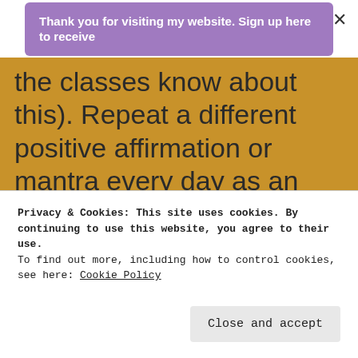Thank you for visiting my website. Sign up here to receive
the classes know about this). Repeat a different positive affirmation or mantra every day as an Advent Calendar starting on the 1st of December until Christmas. If you were busy or
Privacy & Cookies: This site uses cookies. By continuing to use this website, you agree to their use. To find out more, including how to control cookies, see here: Cookie Policy
Close and accept